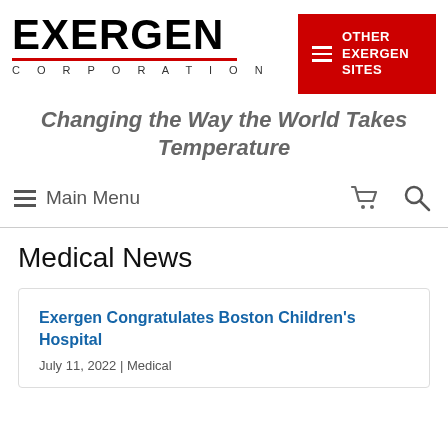[Figure (logo): Exergen Corporation logo with red underline]
[Figure (other): Other Exergen Sites navigation button in red]
Changing the Way the World Takes Temperature
Main Menu
Medical News
Exergen Congratulates Boston Children's Hospital
July 11, 2022 | Medical